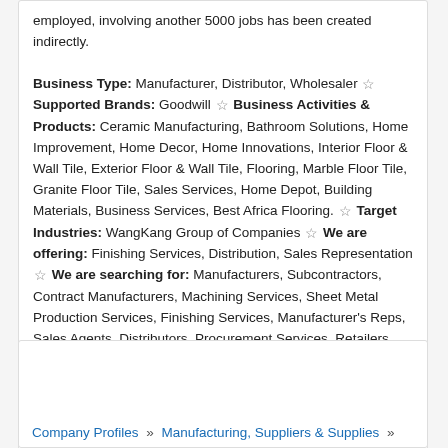employed, involving another 5000 jobs has been created indirectly. Business Type: Manufacturer, Distributor, Wholesaler ☆ Supported Brands: Goodwill ☆ Business Activities & Products: Ceramic Manufacturing, Bathroom Solutions, Home Improvement, Home Decor, Home Innovations, Interior Floor & Wall Tile, Exterior Floor & Wall Tile, Flooring, Marble Floor Tile, Granite Floor Tile, Sales Services, Home Depot, Building Materials, Business Services, Best Africa Flooring. ☆ Target Industries: WangKang Group of Companies ☆ We are offering: Finishing Services, Distribution, Sales Representation ☆ We are searching for: Manufacturers, Subcontractors, Contract Manufacturers, Machining Services, Sheet Metal Production Services, Finishing Services, Manufacturer's Reps, Sales Agents, Distributors, Procurement Services, Retailers, Wholesalers, Trade Associations, New Product Lines ☆ Commission: 5%
Read More & Mail Inquiry
Company Profiles » Manufacturing, Suppliers & Supplies »